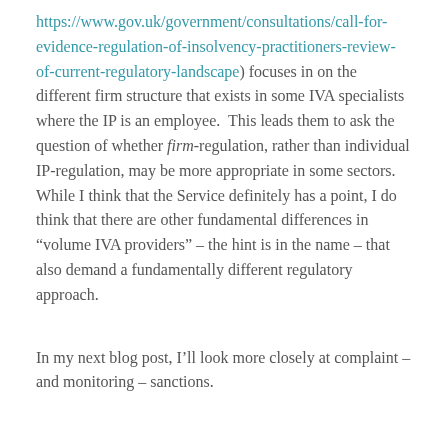https://www.gov.uk/government/consultations/call-for-evidence-regulation-of-insolvency-practitioners-review-of-current-regulatory-landscape) focuses in on the different firm structure that exists in some IVA specialists where the IP is an employee.  This leads them to ask the question of whether firm-regulation, rather than individual IP-regulation, may be more appropriate in some sectors.  While I think that the Service definitely has a point, I do think that there are other fundamental differences in “volume IVA providers” – the hint is in the name – that also demand a fundamentally different regulatory approach.
In my next blog post, I’ll look more closely at complaint – and monitoring – sanctions.